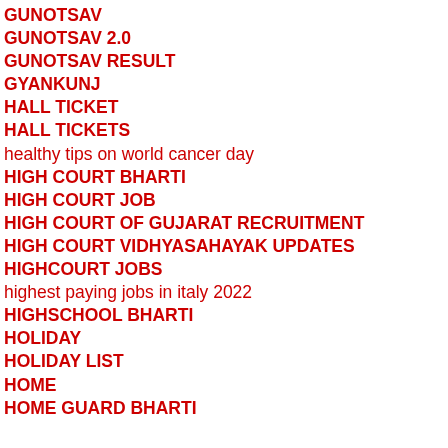GUNOTSAV
GUNOTSAV 2.0
GUNOTSAV RESULT
GYANKUNJ
HALL TICKET
HALL TICKETS
healthy tips on world cancer day
HIGH COURT BHARTI
HIGH COURT JOB
HIGH COURT OF GUJARAT RECRUITMENT
HIGH COURT VIDHYASAHAYAK UPDATES
HIGHCOURT JOBS
highest paying jobs in italy 2022
HIGHSCHOOL BHARTI
HOLIDAY
HOLIDAY LIST
HOME
HOME GUARD BHARTI